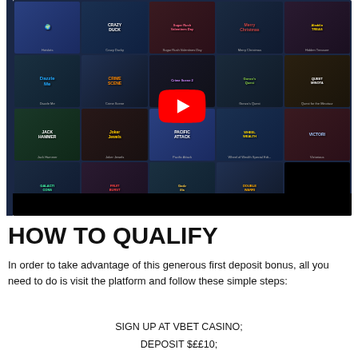[Figure (screenshot): Screenshot of VBet Casino game lobby showing slot game thumbnails including Crazy Duck, Sugar Rush, Merry Christmas, Hidden Treasure, Dazzle Me, Crime Scene, Gonzo's Quest, Quest for the Minotaur, Jack Hammer, Joker Jewels, Pacific Attack, Wheel of Wealth, Victorious, Galacticons, Fruitburst, Godzilla, Double Warriors, with a YouTube play button overlay in the center]
HOW TO QUALIFY
In order to take advantage of this generous first deposit bonus, all you need to do is visit the platform and follow these simple steps:
SIGN UP AT VBET CASINO;
DEPOSIT $££10;